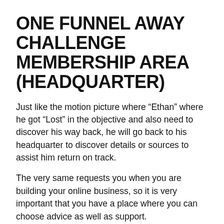ONE FUNNEL AWAY CHALLENGE MEMBERSHIP AREA (HEADQUARTER)
Just like the motion picture where “Ethan” where he got “Lost” in the objective and also need to discover his way back, he will go back to his headquarter to discover details or sources to assist him return on track.
The very same requests you when you are building your online business, so it is very important that you have a place where you can choose advice as well as support.